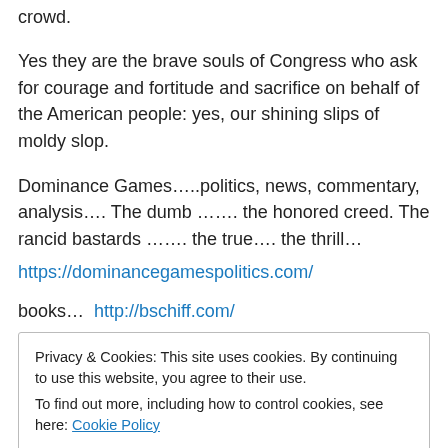crowd.
Yes they are the brave souls of Congress who ask for courage and fortitude and sacrifice on behalf of the American people: yes, our shining slips of moldy slop.
Dominance Games…..politics, news, commentary, analysis…. The dumb ……. the honored creed. The rancid bastards ……. the true…. the thrill…
https://dominancegamespolitics.com/
books…  http://bschiff.com/
Privacy & Cookies: This site uses cookies. By continuing to use this website, you agree to their use.
To find out more, including how to control cookies, see here: Cookie Policy
Close and accept